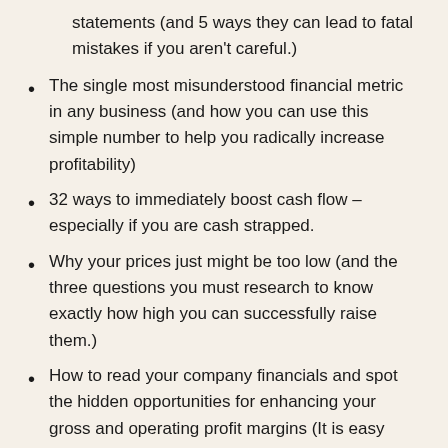statements (and 5 ways they can lead to fatal mistakes if you aren't careful.)
The single most misunderstood financial metric in any business (and how you can use this simple number to help you radically increase profitability)
32 ways to immediately boost cash flow –especially if you are cash strapped.
Why your prices just might be too low (and the three questions you must research to know exactly how high you can successfully raise them.)
How to read your company financials and spot the hidden opportunities for enhancing your gross and operating profit margins (It is easy when you know exactly where to look and what questions to ask.)